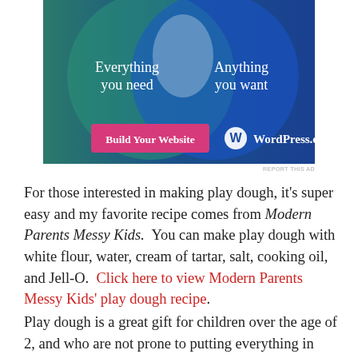[Figure (infographic): WordPress.com advertisement showing two overlapping circles (Venn diagram style) on a dark teal/blue background. Left circle (teal) says 'Everything you need', right circle (blue) says 'Anything you want'. A pink button says 'Build Your Website' and the WordPress.com logo appears bottom right.]
REPORT THIS AD
For those interested in making play dough, it's super easy and my favorite recipe comes from Modern Parents Messy Kids. You can make play dough with white flour, water, cream of tartar, salt, cooking oil, and Jell-O. Click here to view Modern Parents Messy Kids' play dough recipe.
Play dough is a great gift for children over the age of 2, and who are not prone to putting everything in their mouth. I